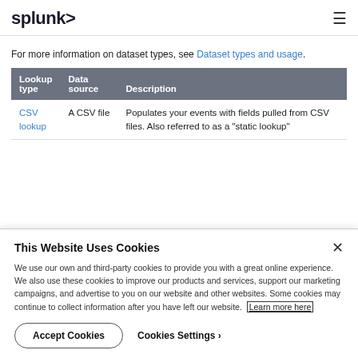splunk> ≡
For more information on dataset types, see Dataset types and usage.
| Lookup type | Data source | Description |
| --- | --- | --- |
| CSV lookup | A CSV file | Populates your events with fields pulled from CSV files. Also referred to as a "static lookup" |
This Website Uses Cookies
We use our own and third-party cookies to provide you with a great online experience. We also use these cookies to improve our products and services, support our marketing campaigns, and advertise to you on our website and other websites. Some cookies may continue to collect information after you have left our website. Learn more here
Accept Cookies    Cookies Settings ›